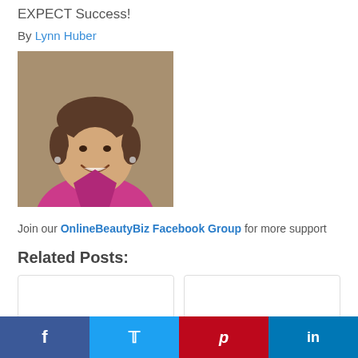EXPECT Success!
By Lynn Huber
[Figure (photo): Headshot of Lynn Huber, a woman with short dark hair wearing a pink/magenta blouse, smiling, against a neutral studio background.]
Join our OnlineBeautyBiz Facebook Group for more support
Related Posts:
[Figure (other): Two related post card thumbnails, empty/white rectangles with light borders.]
f  (Facebook)  |  (Twitter)  |  p (Pinterest)  |  in (LinkedIn)